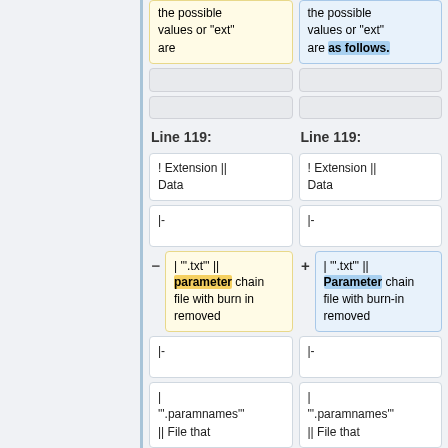the possible values or "ext" are
the possible values or "ext" are as follows.
Line 119:
Line 119:
! Extension || Data
! Extension || Data
|-
|-
| '".txt"' || parameter chain file with burn in removed
| '".txt"' || Parameter chain file with burn-in removed
|-
|-
| '".paramnames"' || File that
| '".paramnames"' || File that